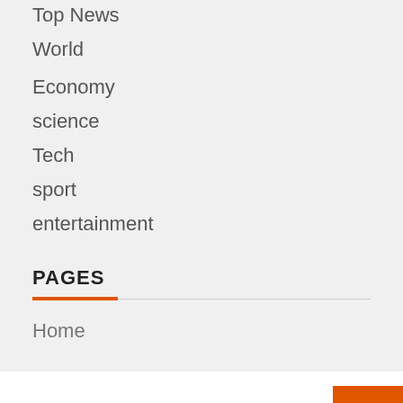Top News
World
Economy
science
Tech
sport
entertainment
PAGES
Home
YOU MAY HAVE MISSED